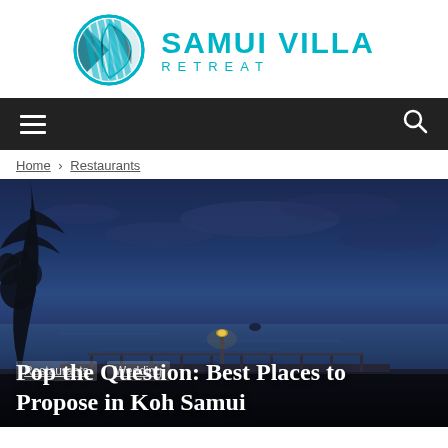[Figure (logo): Samui Villa Retreat logo: teal circular leaf/stripe icon with teal text 'SAMUI VILLA RETREAT']
Navigation bar with hamburger menu and search icon
Home › Restaurants
[Figure (photo): Twilight/dusk panoramic photo of a coastal clifftop restaurant/pavilion overlooking a calm sea under a deep blue sky, with trees silhouetted on the left]
Restaurants  Wedding
Pop the Question: Best Places to Propose in Koh Samui